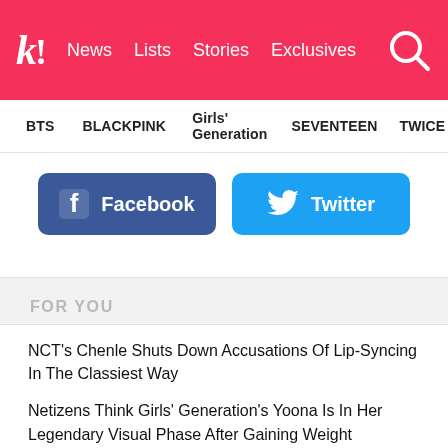k! News Lists Stories Exclusives
BTS   BLACKPINK   Girls' Generation   SEVENTEEN   TWICE
[Figure (other): Facebook share button (blue) and Twitter share button (sky blue) side by side]
FOR YOU
NCT's Chenle Shuts Down Accusations Of Lip-Syncing In The Classiest Way
Netizens Think Girls' Generation's Yoona Is In Her Legendary Visual Phase After Gaining Weight